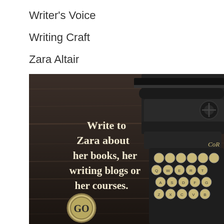Writer's Voice
Writing Craft
Zara Altair
[Figure (photo): A vintage typewriter on a dark wood surface with text overlay reading 'Write to Zara about her books, her writing blogs or her courses.' and a large GO button key visible at the bottom.]